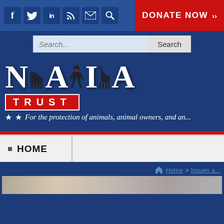[Figure (screenshot): NAIA Trust website header screenshot showing social media icons, donate button, search bar, NAIA Trust logo on dark blue background, tagline 'For the protection of animals, animal owners, and an...', navigation bar with HOME link, breadcrumb showing Home > Issues a..., and partial photo strip]
DONATE NOW >>
Search...
NAIA TRUST
For the protection of animals, animal owners, and an...
HOME
Home > Issues a...